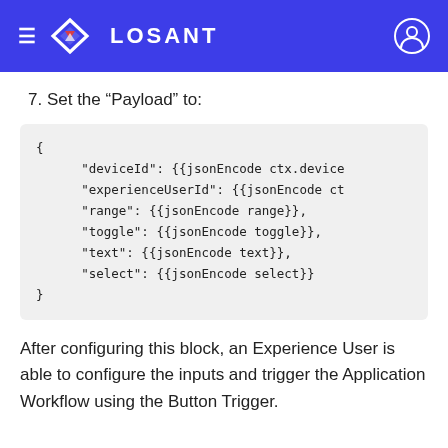LOSANT
7. Set the “Payload” to:
After configuring this block, an Experience User is able to configure the inputs and trigger the Application Workflow using the Button Trigger.